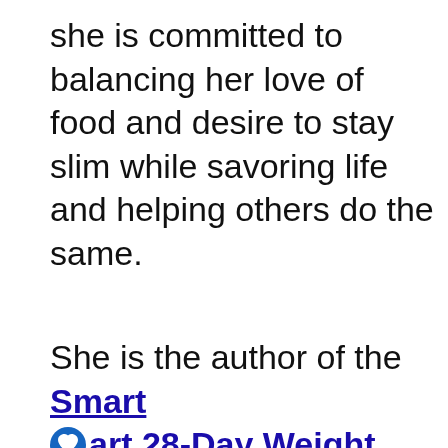she is committed to balancing her love of food and desire to stay slim while savoring life and helping others do the same.
She is the author of the Smart art 28-Day Weight Loss hallenge.
[Figure (screenshot): Social media UI overlay: heart/like button (blue circle with heart icon), share button, 3.6K count label, scroll-up button, What's Next navigation bar with cooking tips thumbnail, search FAB button (blue circle with magnifying glass)]
an of the slow cooker and confessed cookbook addict, when
[Figure (screenshot): Yellow advertisement banner: logo stamp image, text 'It’s okay to question. Now get the facts on COVID-19 vaccines GetVaccineAnswers.org', close X button]